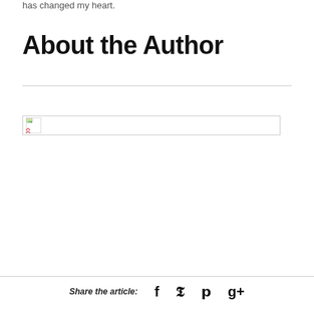has changed my heart.
About the Author
[Figure (photo): Broken image placeholder for author photo, shown as a thin horizontal rectangle with a small broken image icon in the top-left corner]
Share the article:  f  t  p  g+